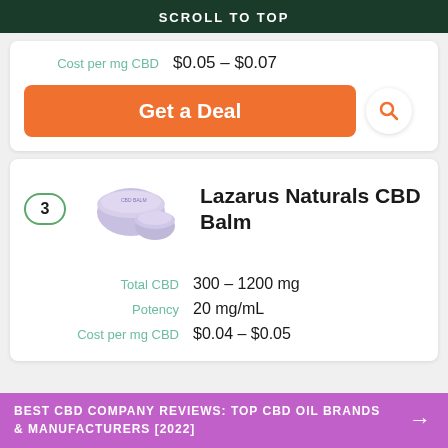SCROLL TO TOP
Cost per mg CBD   $0.05 – $0.07
Get a Deal
3  Lazarus Naturals CBD Balm
Total CBD   300 – 1200 mg
Potency   20 mg/mL
Cost per mg CBD   $0.04 – $0.05
BEST CBD COMPANY REVIEWS: TOP CBD OIL BRANDS & MANUFACTURERS [2022]